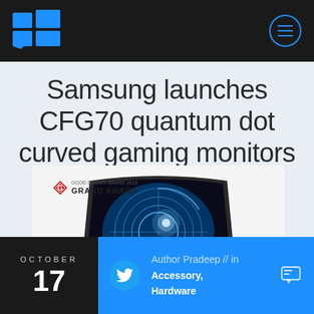Windows Central - Samsung launches CFG70 quantum dot curved gaming monitors
Samsung launches CFG70 quantum dot curved gaming monitors
[Figure (photo): Samsung CFG70 curved gaming monitor with Good Design Award 2016 Grand Award badge and glowing blue circular display]
OCTOBER 17 | Author Pradeep // in Accessory Hardware